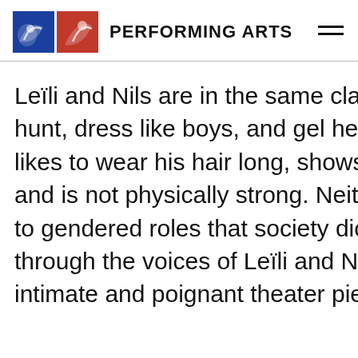PERFORMING ARTS
Leïli and Nils are in the same class. hunt, dress like boys, and gel her s likes to wear his hair long, shows h and is not physically strong. Neithe to gendered roles that society dic through the voices of Leïli and Nils intimate and poignant theater piec